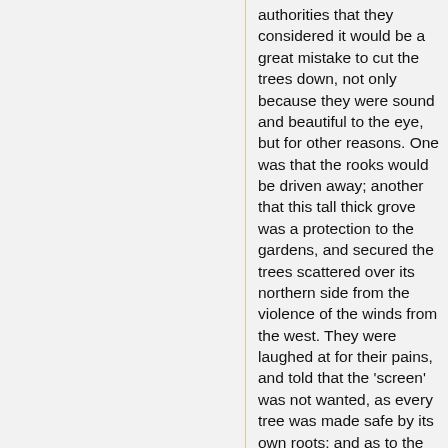authorities that they considered it would be a great mistake to cut the trees down, not only because they were sound and beautiful to the eye, but for other reasons. One was that the rooks would be driven away; another that this tall thick grove was a protection to the gardens, and secured the trees scattered over its northern side from the violence of the winds from the west. They were laughed at for their pains, and told that the 'screen' was not wanted, as every tree was made safe by its own roots; and as to the rooks, they would not abandon the gardens where they had bred for generations, but would build new nests on other trees. Finally, when it came to the cutting down, the men begged to be allowed to